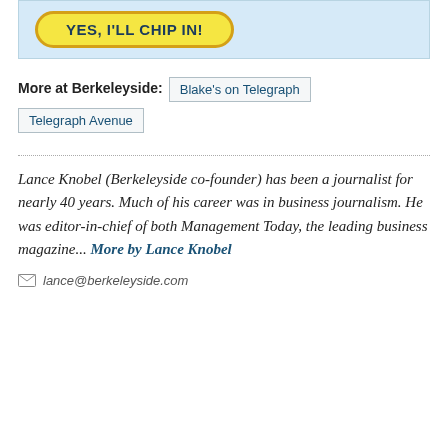[Figure (other): Yellow oval button on light blue banner reading YES, I'LL CHIP IN!]
More at Berkeleyside: Blake's on Telegraph Telegraph Avenue
Lance Knobel (Berkeleyside co-founder) has been a journalist for nearly 40 years. Much of his career was in business journalism. He was editor-in-chief of both Management Today, the leading business magazine... More by Lance Knobel
lance@berkeleyside.com